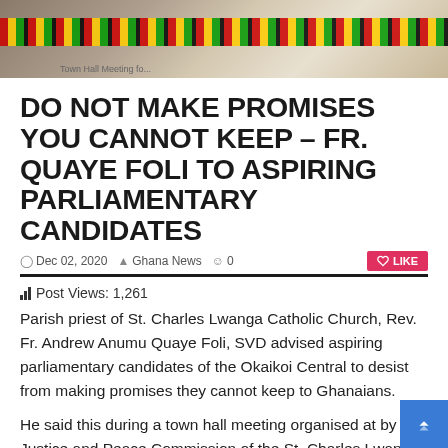[Figure (photo): Photo of a person wearing white clothing and a colorful kente cloth sash, partially visible at the top of the page]
DO NOT MAKE PROMISES YOU CANNOT KEEP – FR. QUAYE FOLI TO ASPIRING PARLIAMENTARY CANDIDATES
Dec 02, 2020  Ghana News  0
Post Views: 1,261
Parish priest of St. Charles Lwanga Catholic Church, Rev. Fr. Andrew Anumu Quaye  Foli, SVD advised aspiring parliamentary candidates of the Okaikoi Central to desist from making promises they cannot keep to Ghanaians.
He said this during a town hall meeting organised at by the Justice and Peace Commission of the St. Charles Lwanga